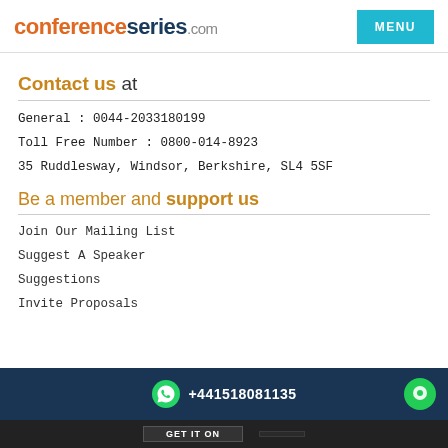conferenceseries.com MENU
Contact us at
General : 0044-2033180199
Toll Free Number : 0800-014-8923
35 Ruddlesway, Windsor, Berkshire, SL4 5SF
Be a member and support us
Join Our Mailing List
Suggest A Speaker
Suggestions
Invite Proposals
+441518081135
GET IT ON